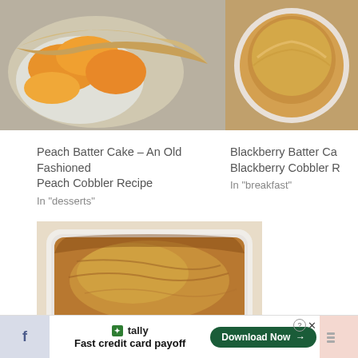[Figure (photo): Photo of peach cobbler in a white bowl, showing golden peaches and pastry crust]
[Figure (photo): Photo of blackberry batter cake in a white ramekin on woven mat]
Peach Batter Cake – An Old Fashioned Peach Cobbler Recipe
In "desserts"
Blackberry Batter Ca
Blackberry Cobbler R
In "breakfast"
[Figure (photo): Photo of rhubarb batter cake in a white square baking dish, golden-brown top]
Rhubarb Batter Cake
In "breakfast"
[Figure (screenshot): Advertisement banner: Tally app - Fast credit card payoff, Download Now button]